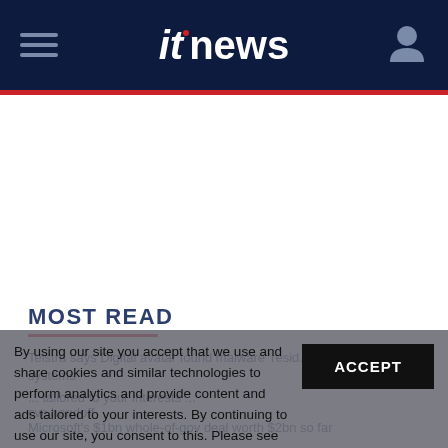itnews
MOST READ
Telstra says Digital avatar found malware 'residing' in legacy systems
... tailored to your interests ...
cvc handoff
Microsoft's $1bn whole-of-gov deal worth $2bn so far
By using our site you accept that we use and share cookies and similar technologies to perform analytics and provide content and ads tailored to your interests. By continuing to use our site, you consent to this. Please see our Cookie Policy for more information.